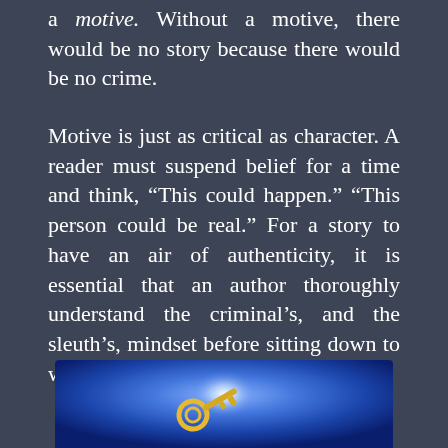a motive. Without a motive, there would be no story because there would be no crime.
Motive is just as critical as character. A reader must suspend belief for a time and think, “This could happen.” “This person could be real.” For a story to have an air of authenticity, it is essential that an author thoroughly understand the criminal’s, and the sleuth’s, mindset before sitting down to write.
[Figure (illustration): Illustration on a blue gradient background showing a golden/yellow object (appears to be a key or similar item) at the bottom of the frame, with a bright light source or glow effect in the upper center area.]